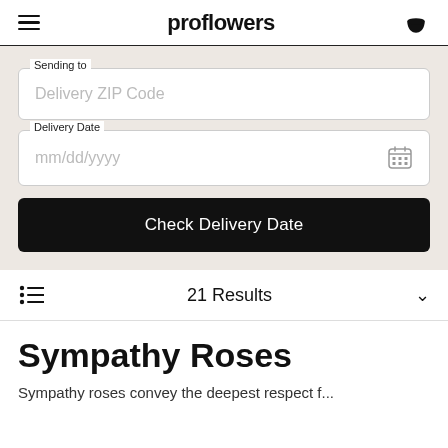proflowers
Sending to
Delivery ZIP Code
Delivery Date
mm/dd/yyyy
Check Delivery Date
21 Results
Sympathy Roses
Sympathy roses convey the deepest respect f...